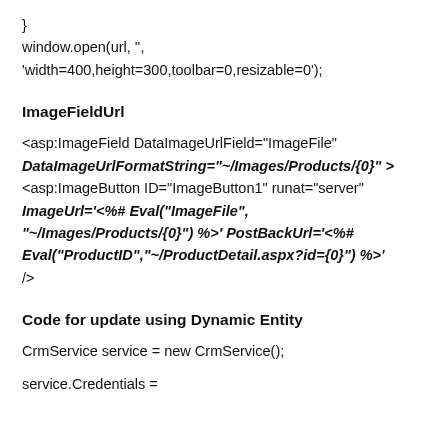}
window.open(url, '',
'width=400,height=300,toolbar=0,resizable=0');
ImageFieldUrl
<asp:ImageField DataImageUrlField="ImageFile"
DataImageUrlFormatString="~/Images/Products/{0}" >
<asp:ImageButton ID="ImageButton1" runat="server"
ImageUrl='<%# Eval("ImageFile",
"~/Images/Products/{0}") %>' PostBackUrl='<%#
Eval("ProductID","~/ProductDetail.aspx?id={0}") %>'
/>
Code for update using Dynamic Entity
CrmService service = new CrmService();
service.Credentials =